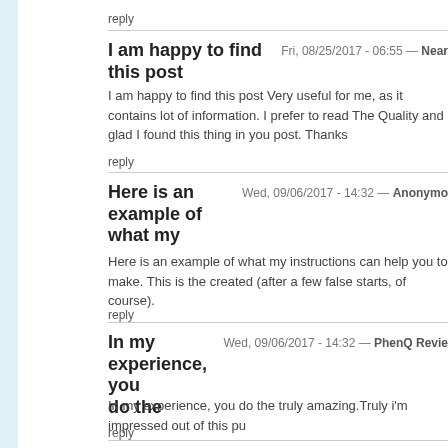reply
I am happy to find this post
Fri, 08/25/2017 - 06:55 — Near
I am happy to find this post Very useful for me, as it contains lot of information. I prefer to read The Quality and glad I found this thing in you post. Thanks
reply
Here is an example of what my
Wed, 09/06/2017 - 14:32 — Anonymous
Here is an example of what my instructions can help you to make. This is the created (after a few false starts, of course).
reply
In my experience, you do the
Wed, 09/06/2017 - 14:32 — PhenQ Revie
In my experience, you do the truly amazing.Truly i'm impressed out of this pu
reply
Buy GenF20 Plus HGH Pills -
Mon, 09/11/2017 - 08:59 — genf20 plus revie